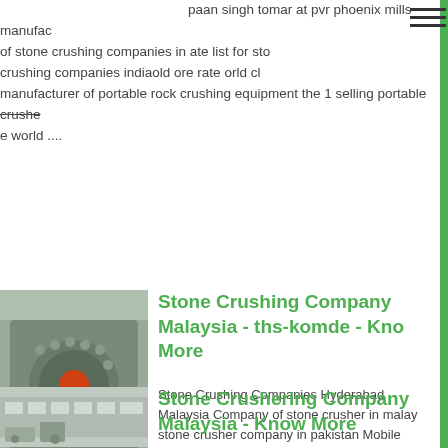paan singh tomar at pvr phoenix mills manufacturer of stone crushing companies in ate list for stone crushing companies indiaold ore rate orld manufacturer of portable rock crushing equipment the 1 selling portable crusher e world ....
[Figure (photo): Industrial stone crushing machine, grey heavy equipment]
Stone Crushing Company Malaysia - ths-komde - Know More
Stone Crushing Companies Hyderabad Malaysia Company of stone crusher in malay stone crusher company in pakistan Mobile stone crusher company in pakistan heavy Industry is specialized in the design manufacture and supply of crushing Get Pri Mobile jaw crusher plant Mobile Crusher core crushing...
[Figure (photo): Industrial building exterior with stone crushing facility]
Stone Crushering Company Malaysia - Know More